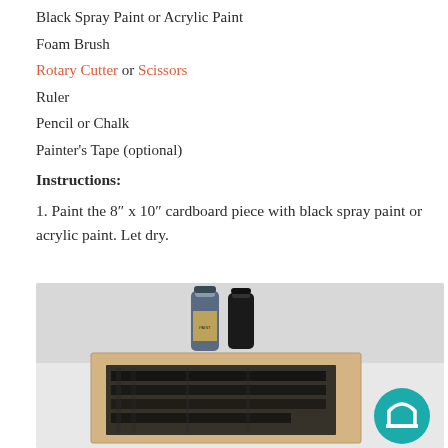Black Spray Paint or Acrylic Paint
Foam Brush
Rotary Cutter or Scissors
Ruler
Pencil or Chalk
Painter's Tape (optional)
Instructions:
1. Paint the 8" x 10" cardboard piece with black spray paint or acrylic paint. Let dry.
[Figure (photo): Photo showing two paint bottles (one dark blue acrylic, one black spray can) above a piece of cardboard/wood being painted black with brush strokes visible. A teal circular logo with an arch icon appears in the bottom right corner.]